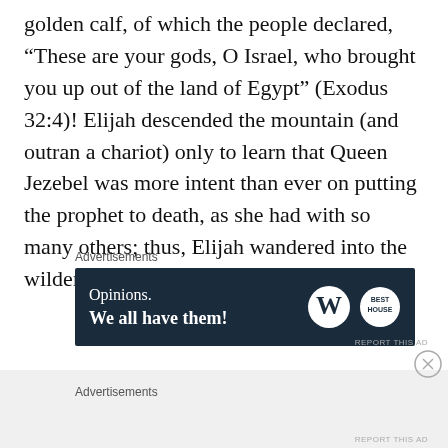golden calf, of which the people declared, “These are your gods, O Israel, who brought you up out of the land of Egypt” (Exodus 32:4)! Elijah descended the mountain (and outran a chariot) only to learn that Queen Jezebel was more intent than ever on putting the prophet to death, as she had with so many others; thus, Elijah wandered into the wilderness and prayed for death.
Advertisements
[Figure (other): Advertisement banner with dark navy background. Text reads 'Opinions. We all have them!' with WordPress logo and another circular logo on the right.]
REPORT THIS AD
Advertisements
REPORT THIS AD